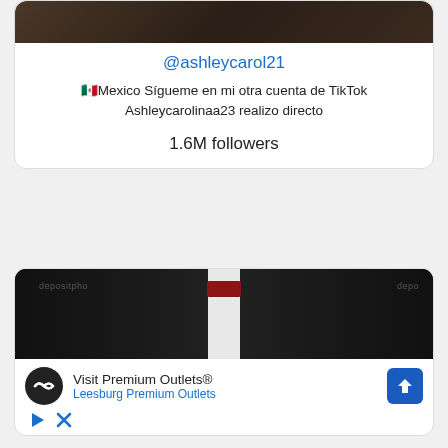[Figure (photo): Top portion of a profile card with a person photo (partially visible, cropped at top)]
@ashleycarol21
🇲🇽Mexico Sígueme en mi otra cuenta de TikTok Ashleycarolinaa23 realizo directo
1.6M followers
[Figure (photo): Photo of a person in a black tuxedo with red bow tie, with depositphotos watermark]
Visit Premium Outlets®
Leesburg Premium Outlets